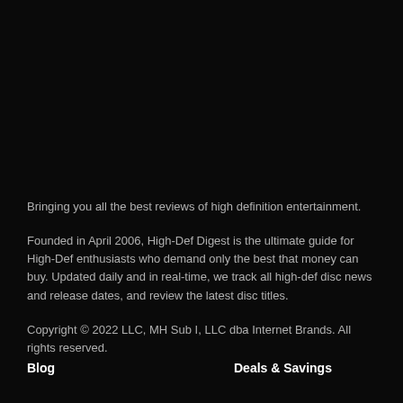Bringing you all the best reviews of high definition entertainment.
Founded in April 2006, High-Def Digest is the ultimate guide for High-Def enthusiasts who demand only the best that money can buy. Updated daily and in real-time, we track all high-def disc news and release dates, and review the latest disc titles.
Copyright © 2022 LLC, MH Sub I, LLC dba Internet Brands. All rights reserved.
Blog
Deals & Savings